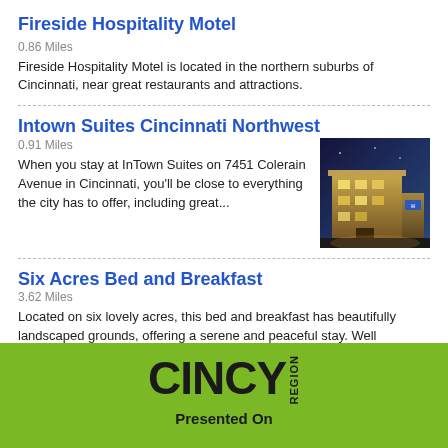Fireside Hospitality Motel
0.86 Miles
Fireside Hospitality Motel is located in the northern suburbs of Cincinnati, near great restaurants and attractions.
Intown Suites Cincinnati Northwest
0.91 Miles
When you stay at InTown Suites on 7451 Colerain Avenue in Cincinnati, you'll be close to everything the city has to offer, including great...
[Figure (photo): Exterior photo of InTown Suites hotel building at night with lighting]
Six Acres Bed and Breakfast
3.62 Miles
Located on six lovely acres, this bed and breakfast has beautifully landscaped grounds, offering a serene and peaceful stay. Well appointed...
[Figure (logo): CINCY REGION logo in dark text on green background]
Presented On